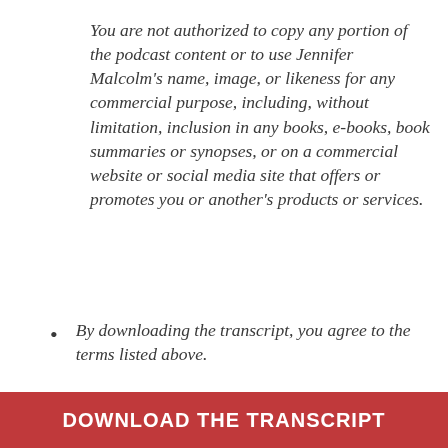You are not authorized to copy any portion of the podcast content or to use Jennifer Malcolm's name, image, or likeness for any commercial purpose, including, without limitation, inclusion in any books, e-books, book summaries or synopses, or on a commercial website or social media site that offers or promotes you or another's products or services.
By downloading the transcript, you agree to the terms listed above.
DOWNLOAD THE TRANSCRIPT